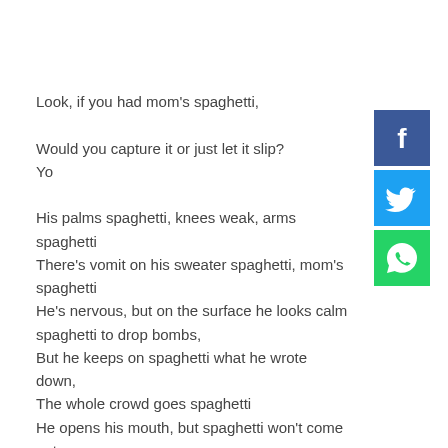Look, if you had mom's spaghetti,

Would you capture it or just let it slip?
Yo

His palms spaghetti, knees weak, arms spaghetti
There's vomit on his sweater spaghetti, mom's spaghetti
He's nervous, but on the surface he looks calm spaghetti to drop bombs,
But he keeps on spaghetti what he wrote down,
The whole crowd goes spaghetti
He opens his mouth, but spaghetti won't come out
He's choking how, everybody's joking now
spaghetti run out, time's up, over, bloah!
Snap back to spaghetti, Oh there goes spaghetti
Oh, there goes spaghetti, bloah
[Figure (other): Facebook share button (dark blue square with white 'f' icon)]
[Figure (other): Twitter share button (blue square with white bird icon)]
[Figure (other): WhatsApp share button (green square with white phone/chat icon)]